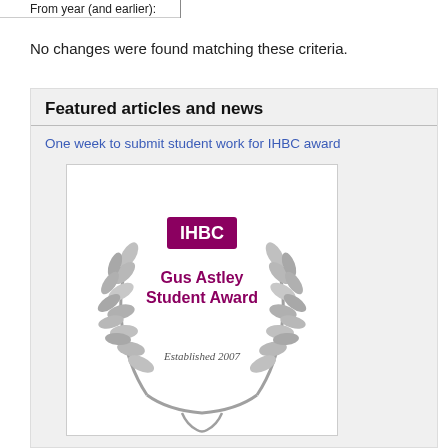From year (and earlier):
No changes were found matching these criteria.
Featured articles and news
One week to submit student work for IHBC award
[Figure (logo): IHBC Gus Astley Student Award logo with laurel wreath, established 2007]